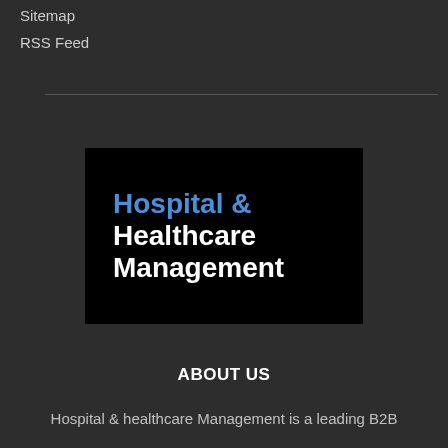Sitemap
RSS Feed
[Figure (logo): Hospital & Healthcare Management logo: dark/black background with 'Hospital &' in blue bold text and 'Healthcare Management' in white bold text]
ABOUT US
Hospital & healthcare Management is a leading B2B